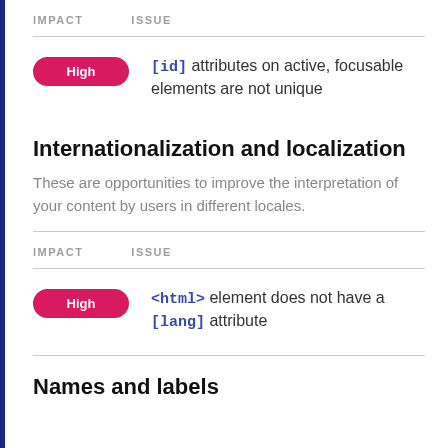| IMPACT | ISSUE |
| --- | --- |
| High | [id] attributes on active, focusable elements are not unique |
Internationalization and localization
These are opportunities to improve the interpretation of your content by users in different locales.
| IMPACT | ISSUE |
| --- | --- |
| High | <html> element does not have a [lang] attribute |
Names and labels